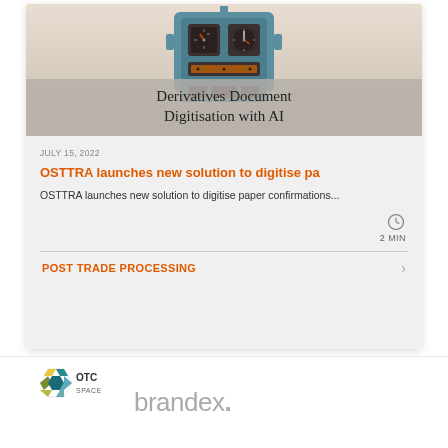[Figure (photo): Robot with gauges/dials on its face, beige/cream background]
Derivatives Document Digitisation with AI
JULY 15, 2022
OSTTRA launches new solution to digitise pa
OSTTRA launches new solution to digitise paper confirmations...
2 MIN
POST TRADE PROCESSING
[Figure (logo): OTC Space logo - hexagon shape with coloured segments and text OTC SPACE]
[Figure (logo): brandex. logo in grey text]